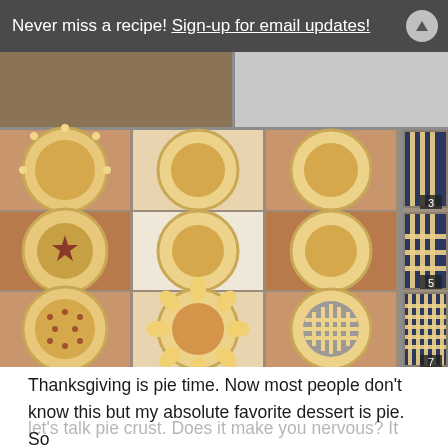Never miss a recipe! Sign-up for email updates!
[Figure (photo): Collage of pie crusts and blueberry pie assembly steps. Left panel shows various decorative pie crust tops on colored napkins/backgrounds including crimped, sunflower, polka dot, and star designs. Right panel shows numbered steps (3, 5, 7) for making a lattice-top blueberry pie, with images of blueberries in crust and lattice weaving process.]
Thanksgiving is pie time.  Now most people don't know this but my absolute favorite dessert is pie.  So let's talk pie crust. Does it make you nervous?  It doesn't have to!  I have the solution to e sure...